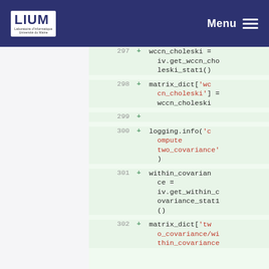LIUM | Menu
[Figure (screenshot): Code diff view showing Python code lines 297-302 with added lines highlighted in green. Lines include wccn_choleski assignment, matrix_dict entries, logging.info call, within_covariance assignment, and matrix_dict two_covariance/within_covariance entry.]